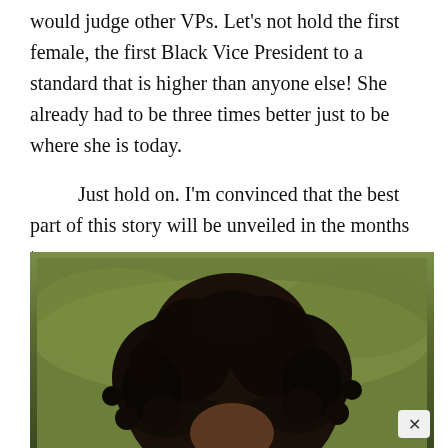would judge other VPs. Let's not hold the first female, the first Black Vice President to a standard that is higher than anyone else! She already had to be three times better just to be where she is today.
Just hold on. I'm convinced that the best part of this story will be unveiled in the months to come.
[Figure (photo): Close-up photograph of a person with natural curly black hair, shown from approximately the shoulders up. The background appears to be blurred greenery.]